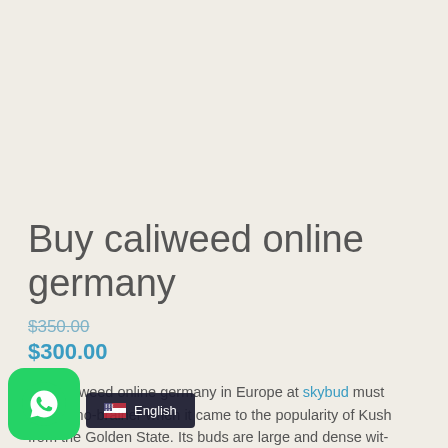Buy caliweed online germany
$350.00
$300.00
Buy caliweed online germany in Europe at skybud must have a no-brainer when it came to the popularity of Kush from the Golden State. Its buds are large and dense with orange and not many pistils. Buy Cali Kush buds